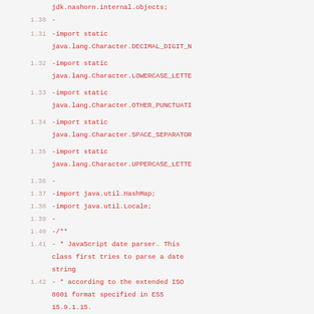jdk.nashorn.internal.objects;
1.30  -
1.31  -import static java.lang.Character.DECIMAL_DIGIT_N
1.32  -import static java.lang.Character.LOWERCASE_LETTE
1.33  -import static java.lang.Character.OTHER_PUNCTUATI
1.34  -import static java.lang.Character.SPACE_SEPARATOR
1.35  -import static java.lang.Character.UPPERCASE_LETTE
1.36  -
1.37  -import java.util.HashMap;
1.38  -import java.util.Locale;
1.39  -
1.40  -/**
1.41  - * JavaScript date parser. This class first tries to parse a date string
1.42  - * according to the extended ISO 8601 format specified in ES5 15.9.1.15.
1.43  - * If that fails, it falls back to legacy mode in which it accepts